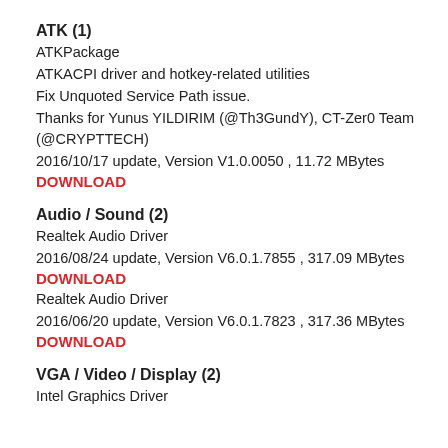ATK (1)
ATKPackage
ATKACPI driver and hotkey-related utilities
Fix Unquoted Service Path issue.
Thanks for Yunus YILDIRIM (@Th3GundY), CT-Zer0 Team (@CRYPTTECH)
2016/10/17 update, Version V1.0.0050 , 11.72 MBytes
DOWNLOAD
Audio / Sound (2)
Realtek Audio Driver
2016/08/24 update, Version V6.0.1.7855 , 317.09 MBytes
DOWNLOAD
Realtek Audio Driver
2016/06/20 update, Version V6.0.1.7823 , 317.36 MBytes
DOWNLOAD
VGA / Video / Display (2)
Intel Graphics Driver